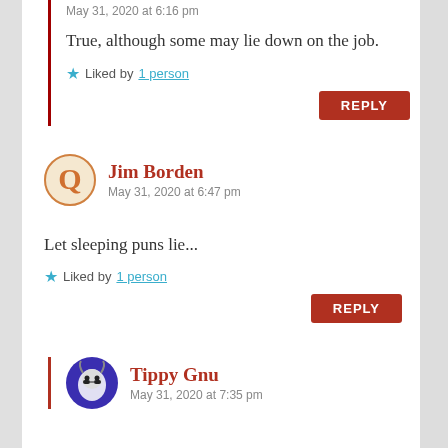May 31, 2020 at 6:16 pm
True, although some may lie down on the job.
★ Liked by 1 person
REPLY
Jim Borden
May 31, 2020 at 6:47 pm
Let sleeping puns lie...
★ Liked by 1 person
REPLY
Tippy Gnu
May 31, 2020 at 7:35 pm